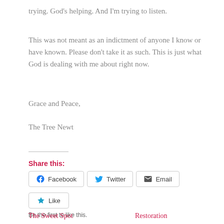trying. God's helping. And I'm trying to listen.
This was not meant as an indictment of anyone I know or have known. Please don't take it as such. This is just what God is dealing with me about right now.
Grace and Peace,
The Tree Newt
Share this:
Like
Be the first to like this.
The Sweet Spot
Restoration